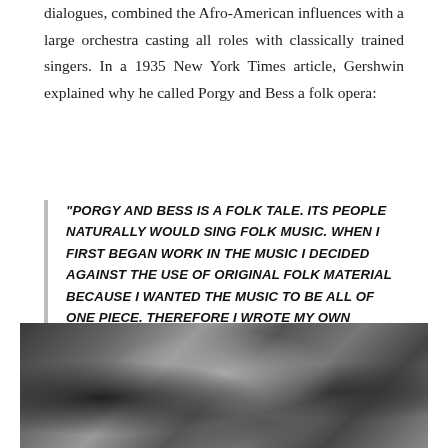composed form with recitative, without spoken dialogues, combined the Afro-American influences with a large orchestra casting all roles with classically trained singers. In a 1935 New York Times article, Gershwin explained why he called Porgy and Bess a folk opera:
"PORGY AND BESS IS A FOLK TALE. ITS PEOPLE NATURALLY WOULD SING FOLK MUSIC. WHEN I FIRST BEGAN WORK IN THE MUSIC I DECIDED AGAINST THE USE OF ORIGINAL FOLK MATERIAL BECAUSE I WANTED THE MUSIC TO BE ALL OF ONE PIECE. THEREFORE I WROTE MY OWN SPIRITUALS AND FOLKSONGS. BUT THEY ARE STILL FOLK MUSIC – AND THEREFORE, BEING IN OPERATIC FORM, PORGY AND BESS BECOMES A FOLK OPERA."
[Figure (photo): Black and white photograph, appears to show a scene related to Porgy and Bess production or a street scene]